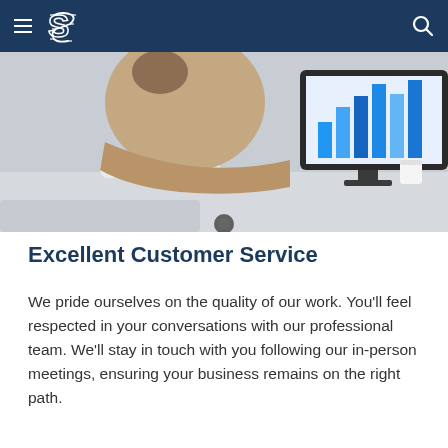Navigation bar with hamburger menu, S logo, and search icon
[Figure (photo): Person sitting at a desk working at a computer monitor displaying bar charts, office environment, viewed from behind/side]
Excellent Customer Service
We pride ourselves on the quality of our work. You'll feel respected in your conversations with our professional team. We'll stay in touch with you following our in-person meetings, ensuring your business remains on the right path.